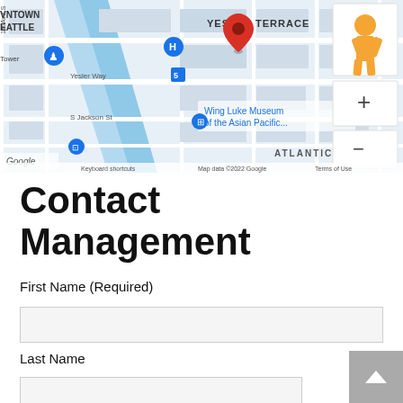[Figure (map): Google Maps view of downtown Seattle area showing Yesler Terrace neighborhood, Wing Luke Museum of the Asian Pacific, S Jackson St, Yesler Way, with a red location pin marker and map controls (zoom in/out, street view). Map data ©2022 Google. Keyboard shortcuts and Terms of Use links visible.]
Contact Management
First Name (Required)
Last Name